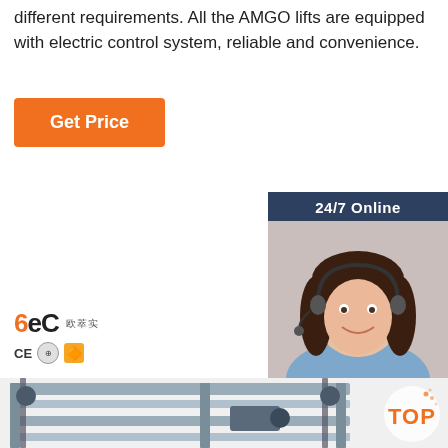different requirements. All the AMGO lifts are equipped with electric control system, reliable and convenience.
[Figure (other): Orange 'Get Price' button]
[Figure (other): 24/7 Online chat box with customer service representative photo, 'Click here for free chat!' text, and orange QUOTATION button]
[Figure (logo): 6eC brand logo with CE mark, circular badge, and gold badge icons]
[Figure (photo): Industrial lift/elevator machinery with metal frame, chains and rails]
[Figure (other): Orange TOP button at bottom right]